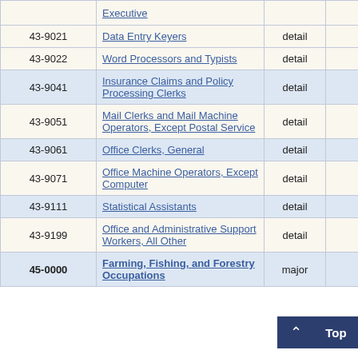| SOC Code | Occupation Title | Level | Employment | (Truncated) |
| --- | --- | --- | --- | --- |
|  | Executive |  |  |  |
| 43-9021 | Data Entry Keyers | detail | 510 | 10 |
| 43-9022 | Word Processors and Typists | detail | 90 | 5 |
| 43-9041 | Insurance Claims and Policy Processing Clerks | detail | 2,250 | 8 |
| 43-9051 | Mail Clerks and Mail Machine Operators, Except Postal Service | detail | 1,270 | 4 |
| 43-9061 | Office Clerks, General | detail | 6,370 | 4 |
| 43-9071 | Office Machine Operators, Except Computer | detail | 60 | 8 |
| 43-9111 | Statistical Assistants | detail | 110 | 7 |
| 43-9199 | Office and Administrative Support Workers, All Other | detail | 220 | 12 |
| 45-0000 | Farming, Fishing, and Forestry Occupations | major | 54 |  |